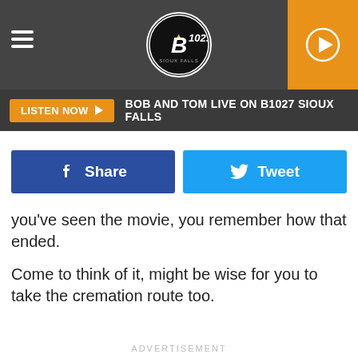[Figure (logo): B102.7 radio station logo in circular badge with hamburger menu icon and orange play button]
BOB AND TOM LIVE ON B1027 SIOUX FALLS
[Figure (infographic): Facebook Share button (blue) and Twitter Tweet button (light blue)]
you've seen the movie, you remember how that ended.
Come to think of it, might be wise for you to take the cremation route too.
ADVERTISEMENT